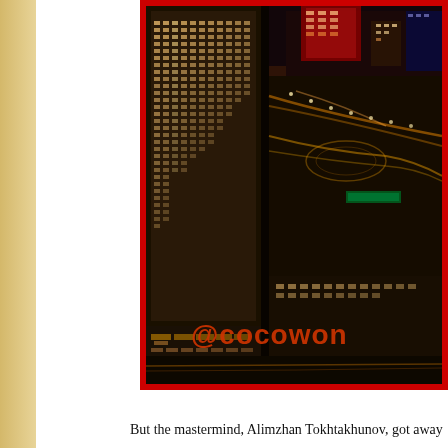[Figure (photo): Night aerial photograph of Las Vegas cityscape showing illuminated casino hotels, highways, and city buildings, with a red border. Watermark text '@cocowon' visible at the bottom of the photo.]
But the mastermind, Alimzhan Tokhtakhunov, got away